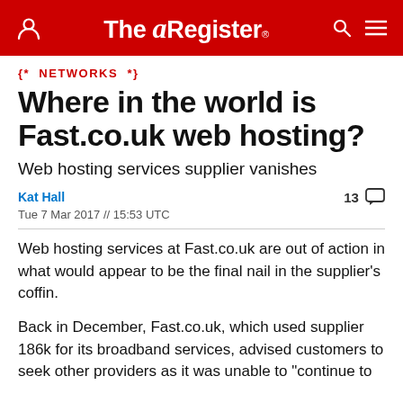The Register
{* NETWORKS *}
Where in the world is Fast.co.uk web hosting?
Web hosting services supplier vanishes
Kat Hall
Tue 7 Mar 2017 // 15:53 UTC
13 comments
Web hosting services at Fast.co.uk are out of action in what would appear to be the final nail in the supplier's coffin.
Back in December, Fast.co.uk, which used supplier 186k for its broadband services, advised customers to seek other providers as it was unable to "continue to